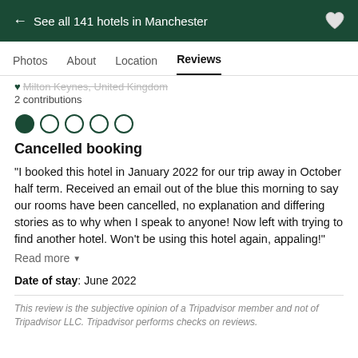← See all 141 hotels in Manchester
Photos   About   Location   Reviews
Milton Keynes, United Kingdom
2 contributions
[Figure (other): 1 out of 5 star rating: one filled green circle followed by four empty green circles]
Cancelled booking
“I booked this hotel in January 2022 for our trip away in October half term. Received an email out of the blue this morning to say our rooms have been cancelled, no explanation and differing stories as to why when I speak to anyone! Now left with trying to find another hotel. Won't be using this hotel again, appaling!”
Read more
Date of stay: June 2022
This review is the subjective opinion of a Tripadvisor member and not of Tripadvisor LLC. Tripadvisor performs checks on reviews.